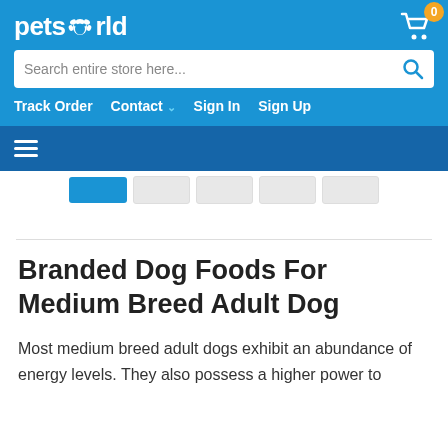petsworld
[Figure (screenshot): PetsWorld e-commerce website header with logo, cart icon showing 0 items, search bar, navigation links (Track Order, Contact, Sign In, Sign Up), dark blue menu bar with hamburger icon, thumbnail image row, and horizontal divider.]
Branded Dog Foods For Medium Breed Adult Dog
Most medium breed adult dogs exhibit an abundance of energy levels. They also possess a higher power to